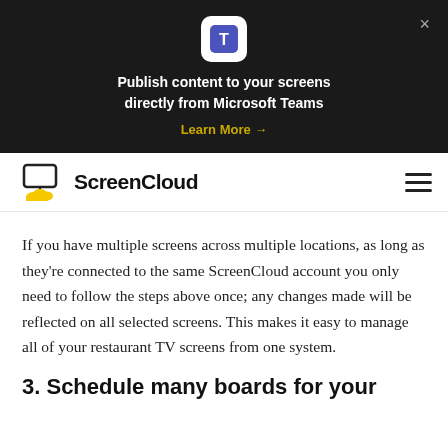[Figure (logo): Microsoft Teams icon in white rounded square]
Publish content to your screens directly from Microsoft Teams
Learn More →
[Figure (logo): ScreenCloud logo with yellow cloud and monitor icon]
If you have multiple screens across multiple locations, as long as they're connected to the same ScreenCloud account you only need to follow the steps above once; any changes made will be reflected on all selected screens. This makes it easy to manage all of your restaurant TV screens from one system.
3. Schedule many boards for your